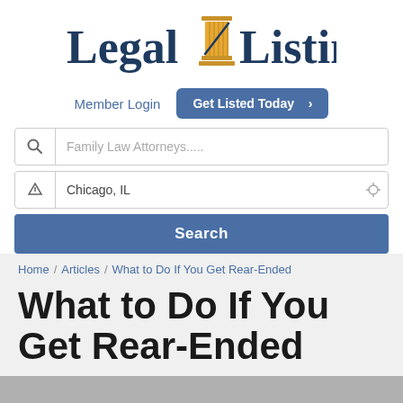[Figure (logo): Legal Listings logo with a golden column/pillar icon between 'Legal' and 'Listings' text in dark navy]
Member Login
Get Listed Today >
Family Law Attorneys.....
Chicago, IL
Search
Home / Articles / What to Do If You Get Rear-Ended
What to Do If You Get Rear-Ended
Posted By Pazner Law in Civil & Litigation
[Figure (photo): Gray image strip at the bottom of the page]